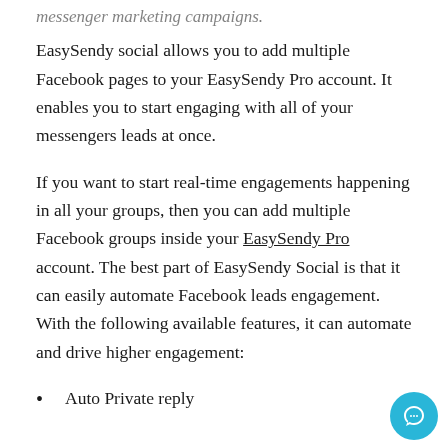messenger marketing campaigns.
EasySendy social allows you to add multiple Facebook pages to your EasySendy Pro account. It enables you to start engaging with all of your messengers leads at once.
If you want to start real-time engagements happening in all your groups, then you can add multiple Facebook groups inside your EasySendy Pro account. The best part of EasySendy Social is that it can easily automate Facebook leads engagement. With the following available features, it can automate and drive higher engagement:
Auto Private reply